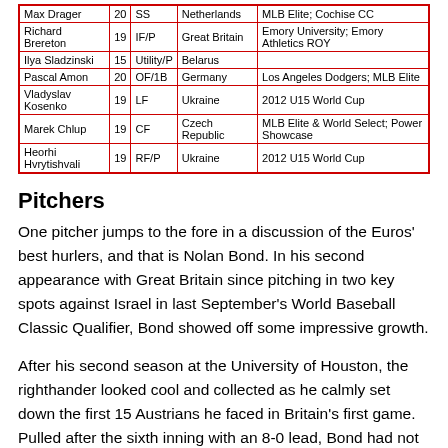| Name | Age | Pos | Country | Notes |
| --- | --- | --- | --- | --- |
| Max Drager | 20 | SS | Netherlands | MLB Elite; Cochise CC |
| Richard Brereton | 19 | IF/P | Great Britain | Emory University; Emory Athletics ROY |
| Ilya Sladzinski | 15 | Utility/P | Belarus |  |
| Pascal Amon | 20 | OF/1B | Germany | Los Angeles Dodgers; MLB Elite |
| Vladyslav Kosenko | 19 | LF | Ukraine | 2012 U15 World Cup |
| Marek Chlup | 19 | CF | Czech Republic | MLB Elite & World Select; Power Showcase |
| Heorhi Hvrytishvali | 19 | RF/P | Ukraine | 2012 U15 World Cup |
Pitchers
One pitcher jumps to the fore in a discussion of the Euros' best hurlers, and that is Nolan Bond. In his second appearance with Great Britain since pitching in two key spots against Israel in last September's World Baseball Classic Qualifier, Bond showed off some impressive growth.
After his second season at the University of Houston, the righthander looked cool and collected as he calmly set down the first 15 Austrians he faced in Britain's first game. Pulled after the sixth inning with an 8-0 lead, Bond had not